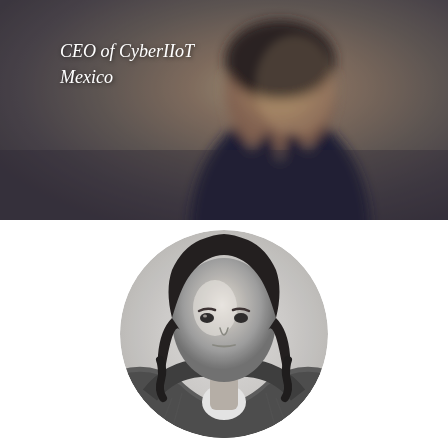[Figure (photo): Top portion of the page showing a blurred background photo of a person in a dark suit, with italic white text overlay reading 'CEO of CyberIIoT Mexico']
CEO of CyberIIoT Mexico
[Figure (photo): Black and white circular cropped portrait photo of a woman with dark wavy hair wearing a blazer, looking slightly upward]